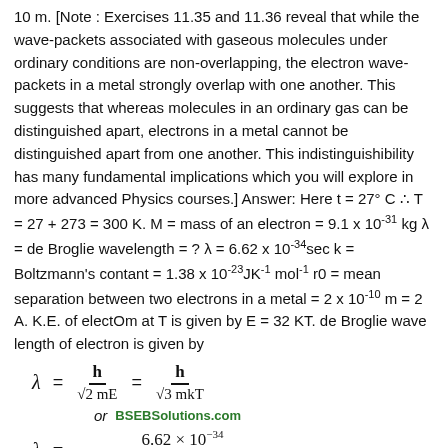10 m. [Note : Exercises 11.35 and 11.36 reveal that while the wave-packets associated with gaseous molecules under ordinary conditions are non-overlapping, the electron wave-packets in a metal strongly overlap with one another. This suggests that whereas molecules in an ordinary gas can be distinguished apart, electrons in a metal cannot be distinguished apart from one another. This indistinguishibility has many fundamental implications which you will explore in more advanced Physics courses.] Answer: Here t = 27° C ∴ T = 27 + 273 = 300 K. M = mass of an electron = 9.1 x 10-31 kg λ = de Broglie wavelength = ? λ = 6.62 x 10-34 sec k = Boltzmann's contant = 1.38 x 10-23JK-1 mol-1 r0 = mean separation between two electrons in a metal = 2 x 10-10 m = 2 A. K.E. of electOm at T is given by E = 32 KT. de Broglie wave length of electron is given by
or  BSEBSolutions.com